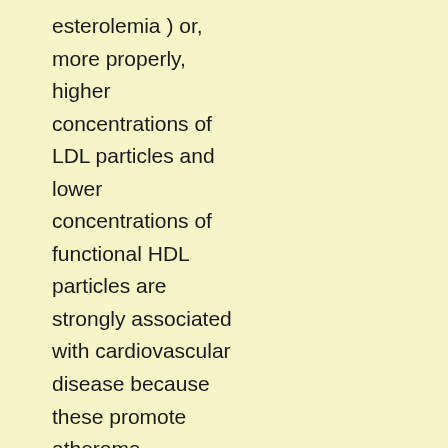esterolemia ) or, more properly, higher concentrations of LDL particles and lower concentrations of functional HDL particles are strongly associated with cardiovascular disease because these promote atheroma development in arteries ( atherosclerosis ). This disease